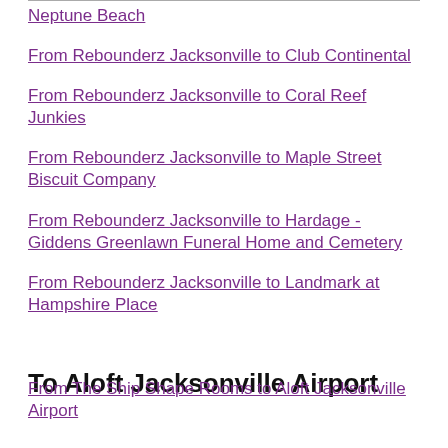Neptune Beach
From Rebounderz Jacksonville to Club Continental
From Rebounderz Jacksonville to Coral Reef Junkies
From Rebounderz Jacksonville to Maple Street Biscuit Company
From Rebounderz Jacksonville to Hardage - Giddens Greenlawn Funeral Home and Cemetery
From Rebounderz Jacksonville to Landmark at Hampshire Place
To Aloft Jacksonville Airport
From The Ship Shape Rooms to Aloft Jacksonville Airport